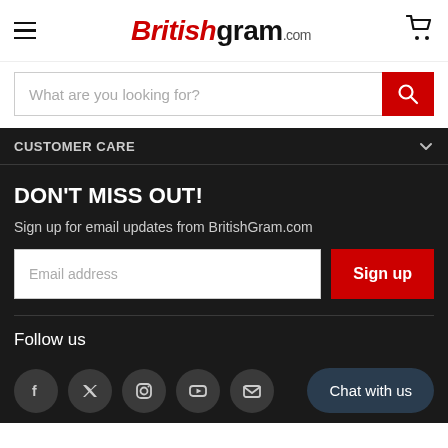Britishgram.com
What are you looking for?
CUSTOMER CARE
DON'T MISS OUT!
Sign up for email updates from BritishGram.com
Email address
Sign up
Follow us
Chat with us